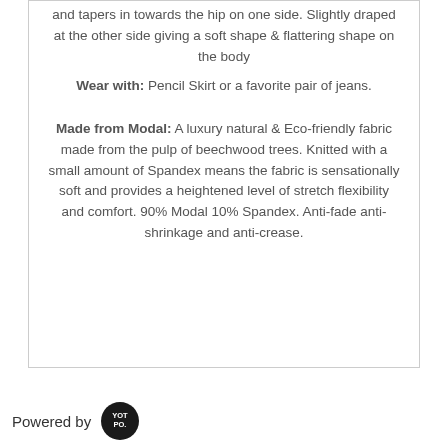and tapers in towards the hip on one side. Slightly draped at the other side giving a soft shape & flattering shape on the body
Wear with: Pencil Skirt or a favorite pair of jeans.
Made from Modal: A luxury natural & Eco-friendly fabric made from the pulp of beechwood trees. Knitted with a small amount of Spandex means the fabric is sensationally soft and provides a heightened level of stretch flexibility and comfort. 90% Modal 10% Spandex. Anti-fade anti-shrinkage and anti-crease.
Powered by [YOT PO. logo]